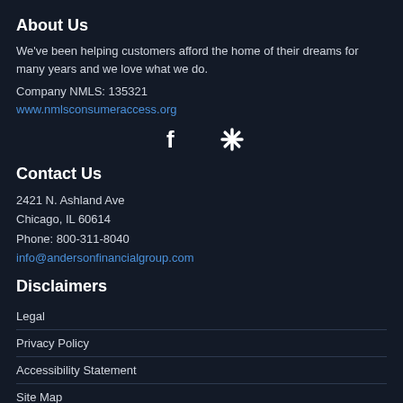About Us
We've been helping customers afford the home of their dreams for many years and we love what we do.
Company NMLS: 135321
www.nmlsconsumeraccess.org
[Figure (illustration): Facebook and Yelp social media icons in white]
Contact Us
2421 N. Ashland Ave
Chicago, IL 60614
Phone: 800-311-8040
info@andersonfinancialgroup.com
Disclaimers
Legal
Privacy Policy
Accessibility Statement
Site Map